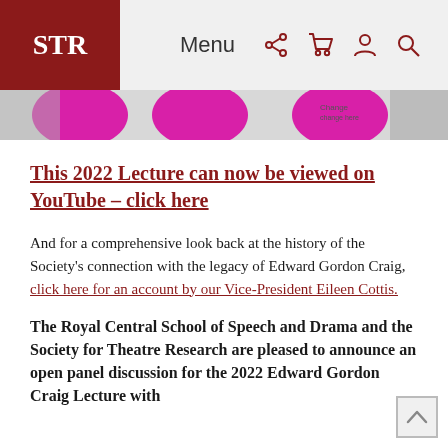STR | Menu
[Figure (photo): Banner image with pink/magenta circular shapes on a light background]
This 2022 Lecture can now be viewed on YouTube – click here
And for a comprehensive look back at the history of the Society's connection with the legacy of Edward Gordon Craig, click here for an account by our Vice-President Eileen Cottis.
The Royal Central School of Speech and Drama and the Society for Theatre Research are pleased to announce an open panel discussion for the 2022 Edward Gordon Craig Lecture with...